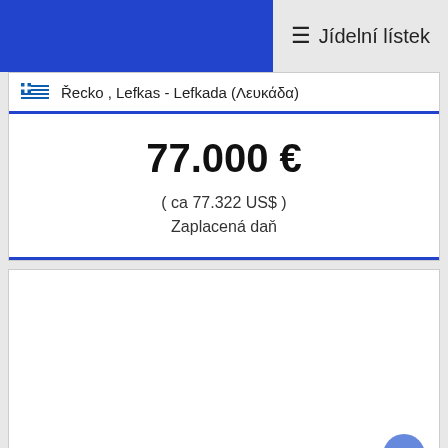≡ Jídelní lístek
🇬🇷 Řecko , Lefkas - Lefkada (Λευκάδα)
77.000 €
( ca 77.322 US$ )
Zaplacená daň
[Figure (photo): Empty white image area with a blue circular scroll-to-top button in the bottom right corner]